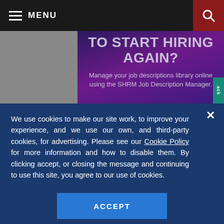MENU
[Figure (illustration): SHRM promotional banner with purple gradient background showing text: ARE YOU READY TO START HIRING AGAIN? Manage your job descriptions library online using the SHRM Job Description Manager.]
We use cookies to make our site work, to improve your experience, and we use our own, and third-party cookies, for advertising. Please see our Cookie Policy for more information and how to disable them. By clicking accept, or closing the message and continuing to use this site, you agree to our use of cookies.
ACCEPT